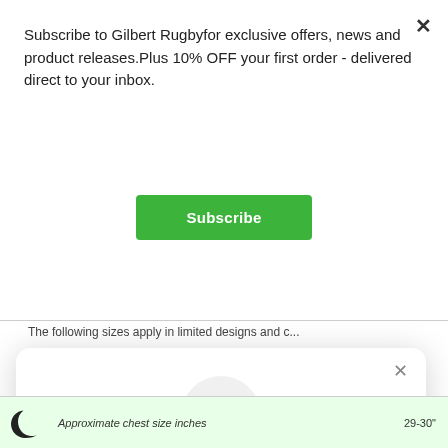Subscribe to Gilbert Rugbyfor exclusive offers, news and product releases.Plus 10% OFF your first order - delivered direct to your inbox.
[Figure (screenshot): Green Subscribe button]
The following sizes apply in limited designs and c...
[Figure (screenshot): Second modal popup: sparkle icon in grey circle, title 'Unlock exclusive rewards and perks', subtitle 'Sign up or Log in', green Sign up button, and 'Already have an account? Sign in' link]
Unlock exclusive rewards and perks
Sign up or Log in
Sign up
Already have an account? Sign in